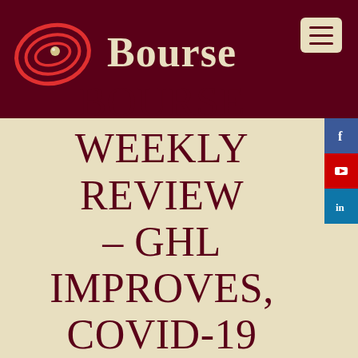Bourse
BOURSE WEEKLY REVIEW – GHL IMPROVES, COVID-19 WORSENS